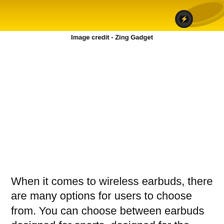[Figure (photo): Yellow background with a gold/yellow cylindrical earbud case visible on the right side against bright yellow background]
Image credit - Zing Gadget
When it comes to wireless earbuds, there are many options for users to choose from. You can choose between earbuds designed for sports, designed for the more discerning audio listener, but if you wanted a "fun" pair of earbuds, then it's probably hard to beat